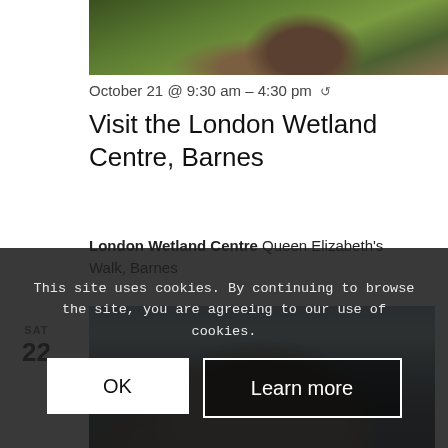[Figure (photo): Partial photo of an otter on grass, cropped at top of page]
October 21 @ 9:30 am – 4:30 pm ↺
Visit the London Wetland Centre, Barnes
London Wetland Centre Queen Elizabeth's Walk, Barnes
SAT
22
[Figure (photo): Photo of an otter or water mammal near water, partially visible]
This site uses cookies. By continuing to browse the site, you are agreeing to our use of cookies.
OK
Learn more